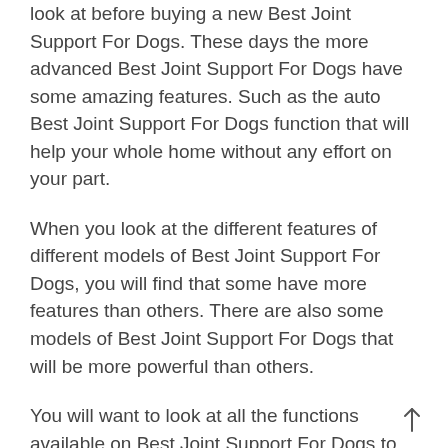look at before buying a new Best Joint Support For Dogs. These days the more advanced Best Joint Support For Dogs have some amazing features. Such as the auto Best Joint Support For Dogs function that will help your whole home without any effort on your part.
When you look at the different features of different models of Best Joint Support For Dogs, you will find that some have more features than others. There are also some models of Best Joint Support For Dogs that will be more powerful than others.
You will want to look at all the functions available on Best Joint Support For Dogs to decide which one is best for you. Once you have looked at the functions of Best Joint